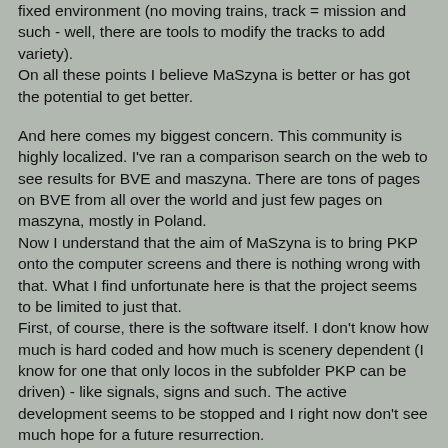fixed environment (no moving trains, track = mission and such - well, there are tools to modify the tracks to add variety).
On all these points I believe MaSzyna is better or has got the potential to get better.

And here comes my biggest concern. This community is highly localized. I've ran a comparison search on the web to see results for BVE and maszyna. There are tons of pages on BVE from all over the world and just few pages on maszyna, mostly in Poland.
Now I understand that the aim of MaSzyna is to bring PKP onto the computer screens and there is nothing wrong with that. What I find unfortunate here is that the project seems to be limited to just that.
First, of course, there is the software itself. I don't know how much is hard coded and how much is scenery dependent (I know for one that only locos in the subfolder PKP can be driven) - like signals, signs and such. The active development seems to be stopped and I right now don't see much hope for a future resurrection.
Second, there's the forum. While I can see lot of activity there, quite some scenery and loco projects, this is all in polish and doesn't ever see it's way out to the world wide public.
To sum things up, we've got a very active polish community here, around a dead project with a dead web page.
In any world, this is the recipe for total death - which i would ABSOLUTELY hate to see, since as I mentioned before, MaSzyna is the best around for die hard sims like me.
On top of that, believe me, you want the community to expand. The more